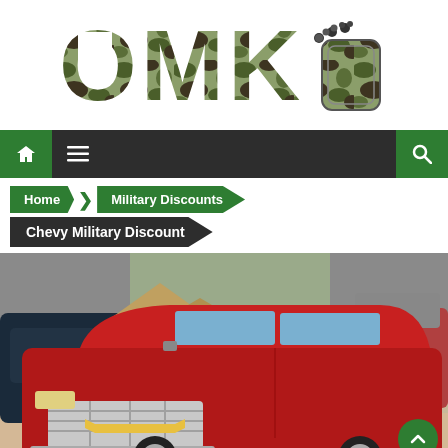[Figure (logo): OMK logo with camouflage pattern text and military dog tag graphic]
[Figure (screenshot): Navigation bar with home button, hamburger menu, and search icon on dark background]
[Figure (infographic): Breadcrumb navigation: Home > Military Discounts > Chevy Military Discount]
[Figure (photo): Red Chevrolet Silverado pickup truck in a dealership showroom, front three-quarter view]